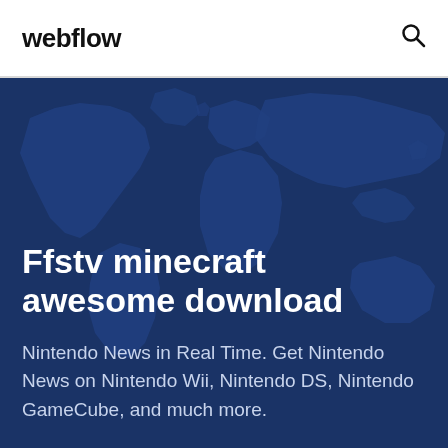webflow
[Figure (illustration): Dark blue world map background with continents rendered in slightly lighter blue tones against a deep navy background]
Ffstv minecraft awesome download
Nintendo News in Real Time. Get Nintendo News on Nintendo Wii, Nintendo DS, Nintendo GameCube, and much more.